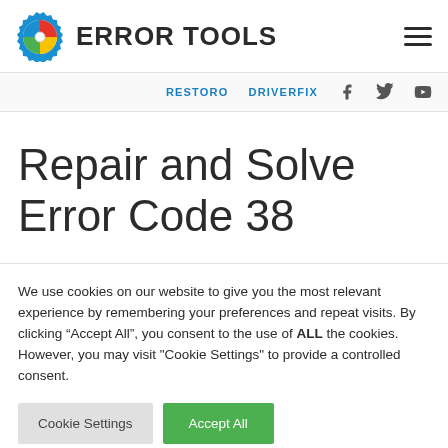ERROR TOOLS
Repair and Solve Error Code 38
We use cookies on our website to give you the most relevant experience by remembering your preferences and repeat visits. By clicking “Accept All”, you consent to the use of ALL the cookies. However, you may visit "Cookie Settings" to provide a controlled consent.